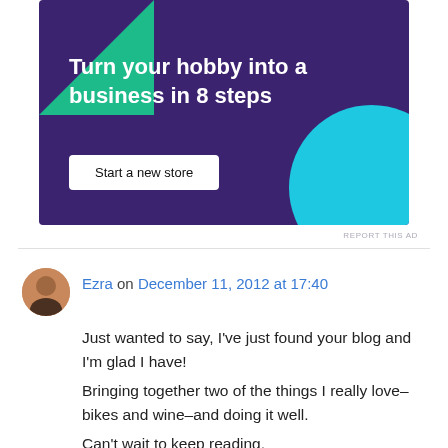[Figure (illustration): Advertisement banner with dark purple background, green triangle top-left, cyan circle bottom-right, white bold text 'Turn your hobby into a business in 8 steps', and a white button 'Start a new store']
REPORT THIS AD
Ezra on December 11, 2012 at 17:40
Just wanted to say, I've just found your blog and I'm glad I have!
Bringing together two of the things I really love–bikes and wine–and doing it well.
Can't wait to keep reading,